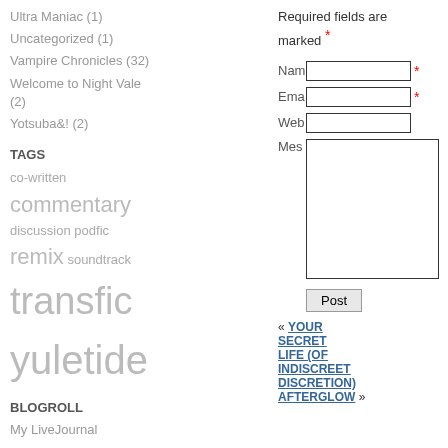Ultra Maniac (1)
Uncategorized (1)
Vampire Chronicles (32)
Welcome to Night Vale (2)
Yotsuba&! (2)
TAGS
co-written commentary discussion podfic remix soundtrack transfic yuletide
BLOGROLL
My LiveJournal
META
Log in
Required fields are marked *
Name field, Email field, Website field, Message field
Post button
« YOUR SECRET LIFE (OF INDISCREET DISCRETION)   AFTERGLOW »